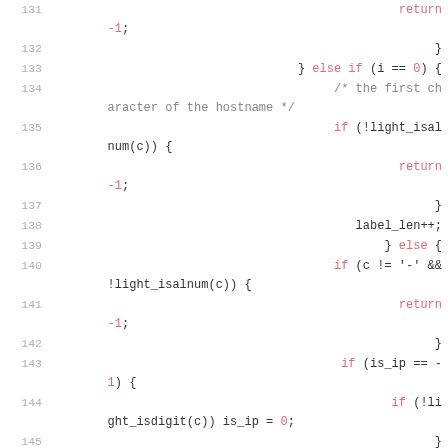[Figure (screenshot): Source code listing showing lines 131-145 of a C program with line numbers on the left and syntax-highlighted code on the right. Keywords and return values are shown in red/pink, variables in cyan, and comments in gray.]